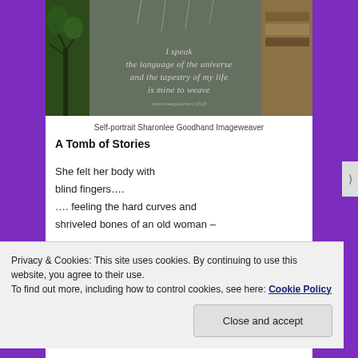[Figure (photo): Self-portrait photo by Sharonlee Goodhand Imageweaver — a composite image featuring a bare tree on the left, rain droplets in the center, old books on the right, with overlaid italic text: 'I speak the language of the universe and the tapestry of my life is mine to weave']
Self-portrait Sharonlee Goodhand Imageweaver
A Tomb of Stories
She felt her body with
blind fingers….
…. feeling the hard curves and
shriveled bones of an old woman –
Privacy & Cookies: This site uses cookies. By continuing to use this website, you agree to their use.
To find out more, including how to control cookies, see here: Cookie Policy